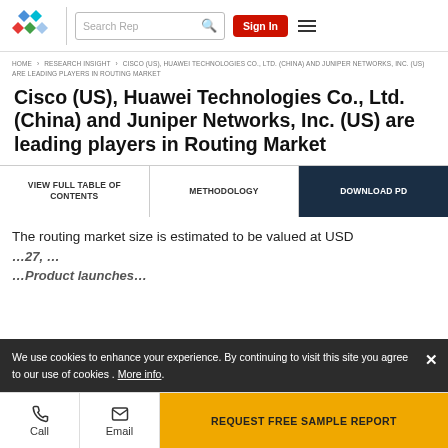Search Rep | Sign In
HOME › RESEARCH INSIGHT › CISCO (US), HUAWEI TECHNOLOGIES CO., LTD. (CHINA) AND JUNIPER NETWORKS, INC. (US) ARE LEADING PLAYERS IN ROUTING MARKET
Cisco (US), Huawei Technologies Co., Ltd. (China) and Juniper Networks, Inc. (US) are leading players in Routing Market
VIEW FULL TABLE OF CONTENTS | METHODOLOGY | DOWNLOAD PD
The routing market size is estimated to be valued at USD
We use cookies to enhance your experience. By continuing to visit this site you agree to our use of cookies . More info.
REQUEST FREE SAMPLE REPORT